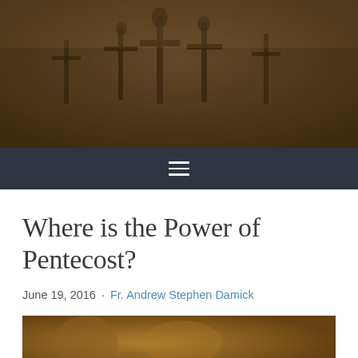[Figure (photo): Sepia-toned photograph of multiple ornate crosses against a hazy sky, giving a dark warm ambiance.]
[Figure (other): Dark navy navigation bar with a white hamburger menu icon (three horizontal lines) centered.]
Where is the Power of Pentecost?
June 19, 2016 · Fr. Andrew Stephen Damick
[Figure (photo): Partial thumbnail image visible at the bottom of the page, showing warm golden/brown tones, appears to be an interior religious image.]